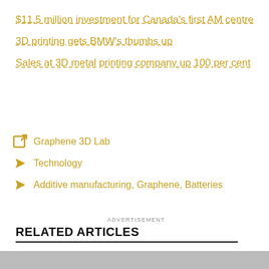$11.5 million investment for Canada's first AM centre
3D printing gets BMW's thumbs up
Sales at 3D metal printing company up 100 per cent
Graphene 3D Lab
Technology
Additive manufacturing, Graphene, Batteries
ADVERTISEMENT
RELATED ARTICLES